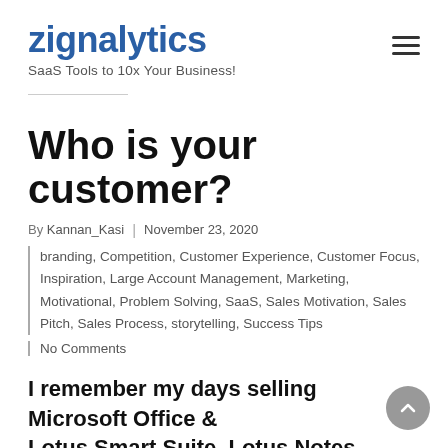zignalytics — SaaS Tools to 10x Your Business!
Who is your customer?
By Kannan_Kasi | November 23, 2020
branding, Competition, Customer Experience, Customer Focus, Inspiration, Large Account Management, Marketing, Motivational, Problem Solving, SaaS, Sales Motivation, Sales Pitch, Sales Process, storytelling, Success Tips
No Comments
I remember my days selling Microsoft Office & Lotus Smart Suite, Lotus Notes [Domino] & MS